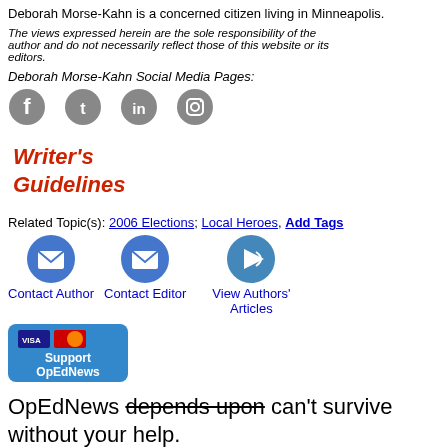Deborah Morse-Kahn is a concerned citizen living in Minneapolis.
The views expressed herein are the sole responsibility of the author and do not necessarily reflect those of this website or its editors.
Deborah Morse-Kahn Social Media Pages:
[Figure (illustration): Social media icons: Facebook, Twitter, LinkedIn, Instagram]
[Figure (logo): Writer's Guidelines logo in red italic script]
Related Topic(s): 2006 Elections; Local Heroes, Add Tags
[Figure (illustration): Contact Author button with envelope icon]
[Figure (illustration): Contact Editor button with envelope icon]
[Figure (illustration): View Authors' Articles button with arrow icon]
[Figure (illustration): Support OpEdNews button with Visa/Mastercard logos]
OpEdNews depends upon can't survive without your help.
If you value this article and the work of OpEdNews, please either Donate or Purchase a premium membership